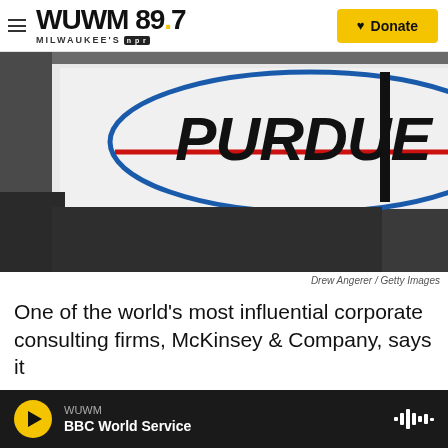WUWM 89.7 Milwaukee's NPR — Donate
[Figure (photo): Close-up photograph of the Purdue Pharma signage — white sign with the word PURDUE in bold black italic letters inside a blue oval ellipse with a red horizontal stripe through the center. A dark vertical bar visible on the right. Background is blurred building exterior.]
Drew Angerer / Getty Images
One of the world's most influential corporate consulting firms, McKinsey & Company, says it